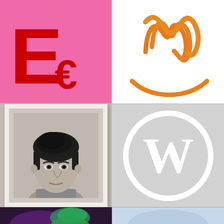[Figure (logo): Pink background with large red letter E and smaller red euro sign forming a logo]
[Figure (logo): White background with orange hand-drawn squiggly cursive/spiral logo above an orange curved underline smile shape]
[Figure (photo): Black and white portrait photograph of a young man with a styled dark pompadour hairstyle, white photo frame border]
[Figure (logo): Light gray background with white WordPress W logo inside a white circle outline]
[Figure (illustration): Partial view of a dark purple/space themed illustration with a green cartoon character]
[Figure (photo): Partial view of a light blue toned photo with a person]